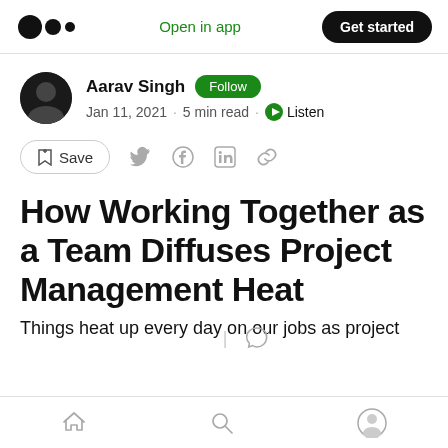Open in app | Get started
Aarav Singh · Follow · Jan 11, 2021 · 5 min read · Listen
Save
How Working Together as a Team Diffuses Project Management Heat
Things heat up every day on our jobs as project